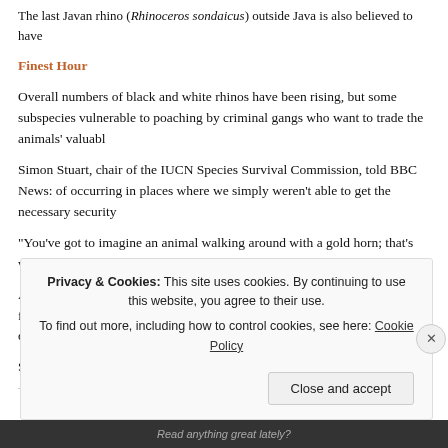The last Javan rhino (Rhinoceros sondaicus) outside Java is also believed to have [died]
Finest Hour
Overall numbers of black and white rhinos have been rising, but some subspecies [remain] vulnerable to poaching by criminal gangs who want to trade the animals' valuabl[e horns].
Simon Stuart, chair of the IUCN Species Survival Commission, told BBC News:[...] of occurring in places where we simply weren't able to get the necessary security[...]
“You’ve got to imagine an animal walking around with a gold horn; that’s what y[ou...] value and that’s why you need incredibly high security.”
Another focus for this year’s list is Madagascar and its reptiles. The report found [that many] reptiles are threatened. But it also says that new areas have been designated for c[onservation...]
Source: BBC News  Read more
Privacy & Cookies: This site uses cookies. By continuing to use this website, you agree to their use. To find out more, including how to control cookies, see here: Cookie Policy
Close and accept
Read anything great lately?